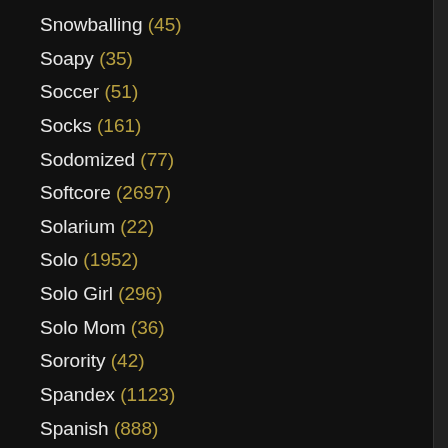Snowballing (45)
Soapy (35)
Soccer (51)
Socks (161)
Sodomized (77)
Softcore (2697)
Solarium (22)
Solo (1952)
Solo Girl (296)
Solo Mom (36)
Sorority (42)
Spandex (1123)
Spanish (888)
Spanking (1754)
Speculum (68)